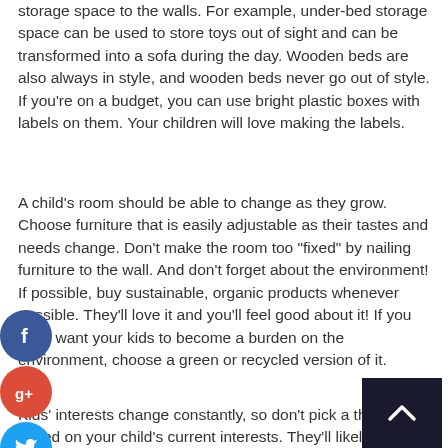storage space to the walls. For example, under-bed storage space can be used to store toys out of sight and can be transformed into a sofa during the day. Wooden beds are also always in style, and wooden beds never go out of style. If you're on a budget, you can use bright plastic boxes with labels on them. Your children will love making the labels.
A child's room should be able to change as they grow. Choose furniture that is easily adjustable as their tastes and needs change. Don't make the room too "fixed" by nailing furniture to the wall. And don't forget about the environment! If possible, buy sustainable, organic products whenever possible. They'll love it and you'll feel good about it! If you don't want your kids to become a burden on the environment, choose a green or recycled version of it.
Kids' interests change constantly, so don't pick a theme based on your child's current interests. They'll likely grow tired of it within